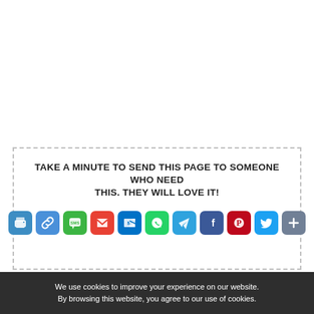TAKE A MINUTE TO SEND THIS PAGE TO SOMEONE WHO NEED THIS. THEY WILL LOVE IT!
[Figure (infographic): Row of social sharing icon buttons: Print, Copy Link, SMS, Gmail, Outlook, WhatsApp, Telegram, Facebook, Pinterest, Twitter, Share]
We use cookies to improve your experience on our website. By browsing this website, you agree to our use of cookies.